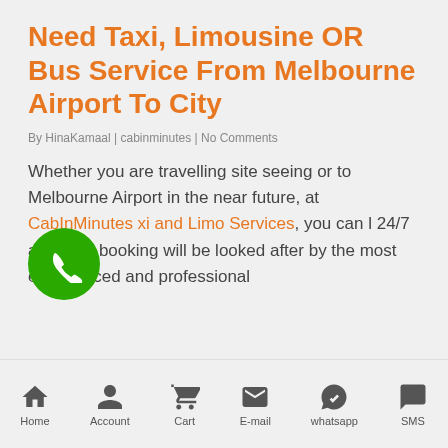Need Taxi, Limousine OR Bus Service From Melbourne Airport To City
By HinaKamaal | cabinminutes | No Comments
Whether you are travelling site seeing or to Melbourne Airport in the near future, at CabInMinutes xi and Limo Services, you can l 24/7 and your booking will be looked after by the most experienced and professional
Home | Account | Cart | E-mail | whatsapp | SMS